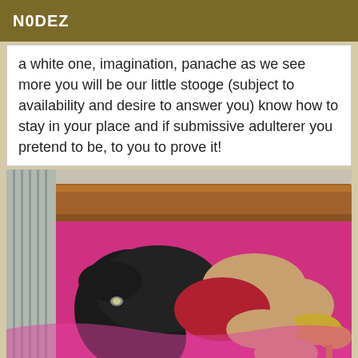N0DEZ
a white one, imagination, panache as we see more you will be our little stooge (subject to availability and desire to answer you) know how to stay in your place and if submissive adulterer you pretend to be, to you to prove it!
[Figure (photo): A person wearing a black top and red shorts lying on a pink/magenta bed, viewed from above. They have long dark hair and are wearing gold high heels. A wooden headboard is visible at the top.]